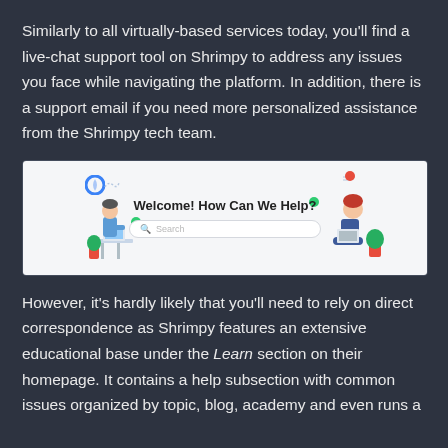Similarly to all virtually-based services today, you'll find a live-chat support tool on Shrimpy to address any issues you face while navigating the platform. In addition, there is a support email if you need more personalized assistance from the Shrimpy tech team.
[Figure (screenshot): Screenshot of a help/support page with title 'Welcome! How Can We Help?', a search bar, two illustrated figures (person at desk on left, person sitting on right), decorative green and red dots, and a logo.]
However, it's hardly likely that you'll need to rely on direct correspondence as Shrimpy features an extensive educational base under the Learn section on their homepage. It contains a help subsection with common issues organized by topic, blog, academy and even runs a